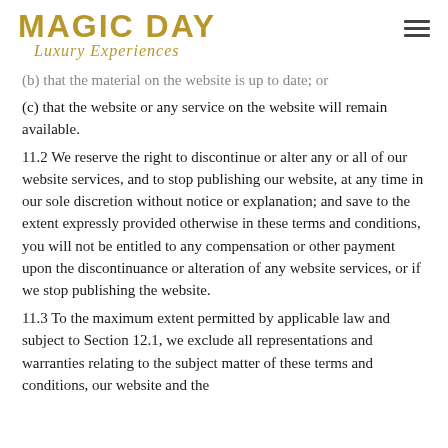[Figure (logo): Magic Day Luxury Experiences logo in gold text]
(b) that the material on the website is up to date; or
(c) that the website or any service on the website will remain available.
11.2 We reserve the right to discontinue or alter any or all of our website services, and to stop publishing our website, at any time in our sole discretion without notice or explanation; and save to the extent expressly provided otherwise in these terms and conditions, you will not be entitled to any compensation or other payment upon the discontinuance or alteration of any website services, or if we stop publishing the website.
11.3 To the maximum extent permitted by applicable law and subject to Section 12.1, we exclude all representations and warranties relating to the subject matter of these terms and conditions, our website and the